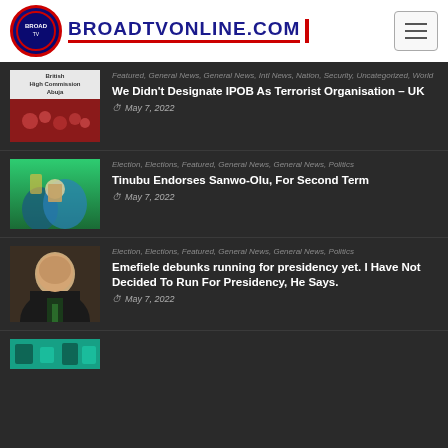BROADTVONLINE.COM
Featured, General News, General News, Intl News, Nation, Security, Uncategorized, World
We Didn't Designate IPOB As Terrorist Organisation – UK
May 7, 2022
Election, Elections, Featured, General News, General News, Politics
Tinubu Endorses Sanwo-Olu, For Second Term
May 7, 2022
Election, Elections, Featured, General News, General News, Politics
Emefiele debunks running for presidency yet. I Have Not Decided To Run For Presidency, He Says.
May 7, 2022